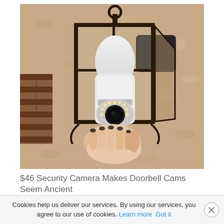[Figure (photo): A hand holding a white security camera shaped like a light bulb, being installed into a dark metal outdoor lantern fixture mounted on a textured stucco wall. The camera has a round lens with LED lights visible at the bottom.]
$46 Security Camera Makes Doorbell Cams Seem Ancient
Cookies help us deliver our services. By using our services, you agree to our use of cookies. Learn more Got it